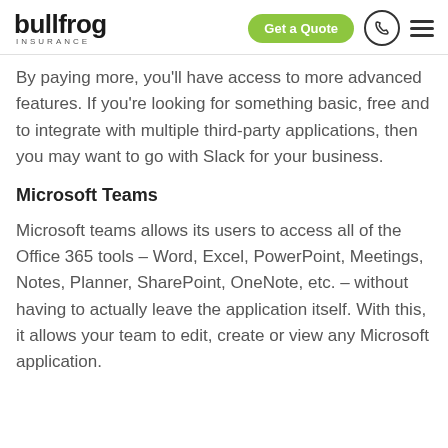bullfrog INSURANCE
By paying more, you'll have access to more advanced features. If you're looking for something basic, free and to integrate with multiple third-party applications, then you may want to go with Slack for your business.
Microsoft Teams
Microsoft teams allows its users to access all of the Office 365 tools – Word, Excel, PowerPoint, Meetings, Notes, Planner, SharePoint, OneNote, etc. – without having to actually leave the application itself. With this, it allows your team to edit, create or view any Microsoft application.